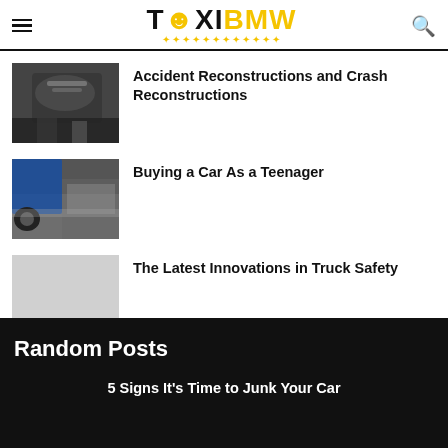TaxiBMW
Accident Reconstructions and Crash Reconstructions
[Figure (photo): Mechanic working under a car hood in dark workshop]
Buying a Car As a Teenager
[Figure (photo): Blue car in a showroom with other vehicles in background]
The Latest Innovations in Truck Safety
Random Posts
5 Signs It's Time to Junk Your Car